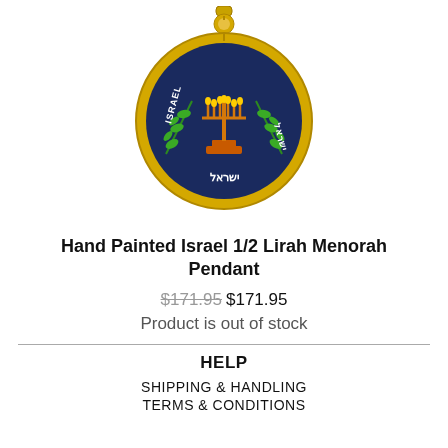[Figure (photo): A gold-framed round pendant featuring a hand-painted Israeli coin design with a menorah (candlestick) in orange/gold on a dark blue background, flanked by green olive branches, with 'ISRAEL' text on the left and Hebrew text on the right, and Hebrew text 'ישראל' at the bottom. The pendant has a gold bail/hook at the top.]
Hand Painted Israel 1/2 Lirah Menorah Pendant
$171.95 $171.95
Product is out of stock
HELP
SHIPPING & HANDLING
TERMS & CONDITIONS